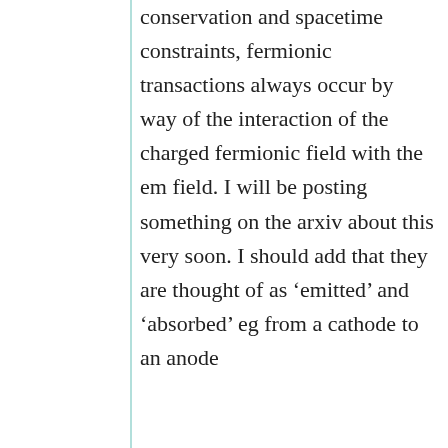conservation and spacetime constraints, fermionic transactions always occur by way of the interaction of the charged fermionic field with the em field. I will be posting something on the arxiv about this very soon. I should add that they are thought of as 'emitted' and 'absorbed' eg from a cathode to an anode